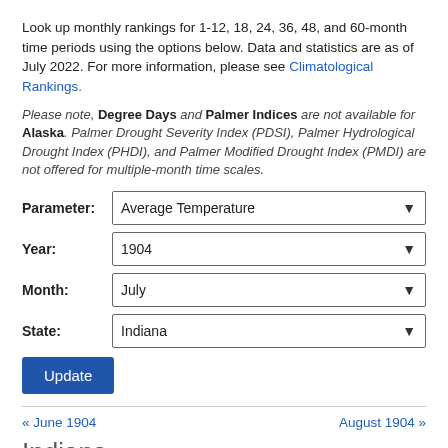Look up monthly rankings for 1-12, 18, 24, 36, 48, and 60-month time periods using the options below. Data and statistics are as of July 2022. For more information, please see Climatological Rankings.
Please note, Degree Days and Palmer Indices are not available for Alaska. Palmer Drought Severity Index (PDSI), Palmer Hydrological Drought Index (PHDI), and Palmer Modified Drought Index (PMDI) are not offered for multiple-month time scales.
Parameter: Average Temperature
Year: 1904
Month: July
State: Indiana
[Update button]
« June 1904    August 1904 »
Indiana